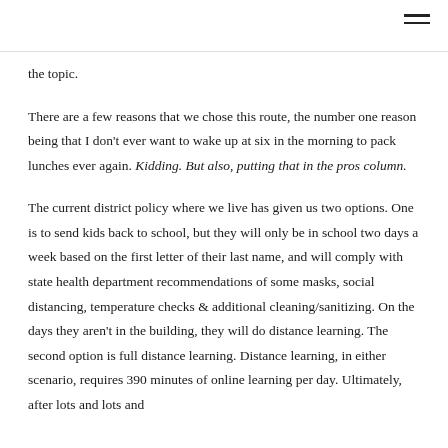the topic.
There are a few reasons that we chose this route, the number one reason being that I don't ever want to wake up at six in the morning to pack lunches ever again. Kidding. But also, putting that in the pros column.
The current district policy where we live has given us two options. One is to send kids back to school, but they will only be in school two days a week based on the first letter of their last name, and will comply with state health department recommendations of some masks, social distancing, temperature checks & additional cleaning/sanitizing. On the days they aren't in the building, they will do distance learning. The second option is full distance learning. Distance learning, in either scenario, requires 390 minutes of online learning per day. Ultimately, after lots and lots and